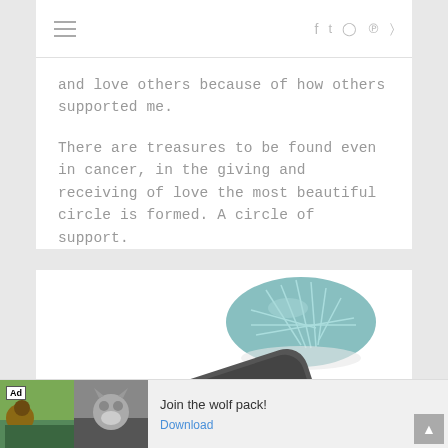≡   f  t  ◎  ℗  ≋
and love others because of how others supported me.
There are treasures to be found even in cancer, in the giving and receiving of love the most beautiful circle is formed. A circle of support.
[Figure (photo): A smartphone with a screen showing a colorful app interface (light blue background with yellow figure), lying at an angle on a white surface next to a teal/mint geometric patterned bowl]
Ad   Join the wolf pack!   Download